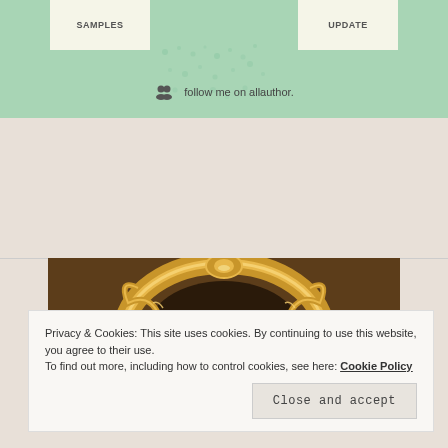[Figure (screenshot): Top portion of a website with a mint/green background banner showing two boxes labeled 'SAMPLES' and 'UPDATE', with decorative dot pattern in between, and a 'follow me on allauthor.' link below.]
[Figure (photo): Close-up photograph of an ornate golden/gilt baroque mirror frame with dark reflective surface visible.]
Privacy & Cookies: This site uses cookies. By continuing to use this website, you agree to their use.
To find out more, including how to control cookies, see here: Cookie Policy
Close and accept